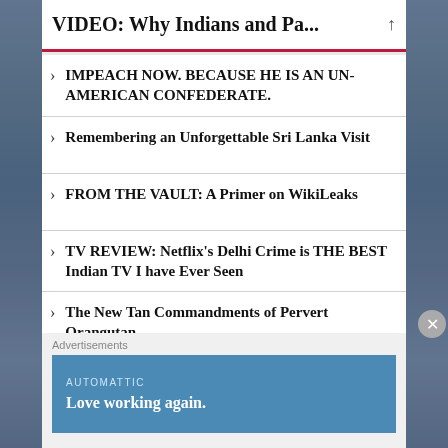VIDEO: Why Indians and Pa...
IMPEACH NOW. BECAUSE HE IS AN UN-AMERICAN CONFEDERATE.
Remembering an Unforgettable Sri Lanka Visit
FROM THE VAULT: A Primer on WikiLeaks
TV REVIEW: Netflix’s Delhi Crime is THE BEST Indian TV I have Ever Seen
The New Tan Commandments of Pervert Orangutan
EDITORIAL: Every Player in the Trump Conspiracy is STRAIGHT Outta Central Casting
Advertisements
[Figure (other): AUTOMATTIC advertisement banner reading 'Love working again.']